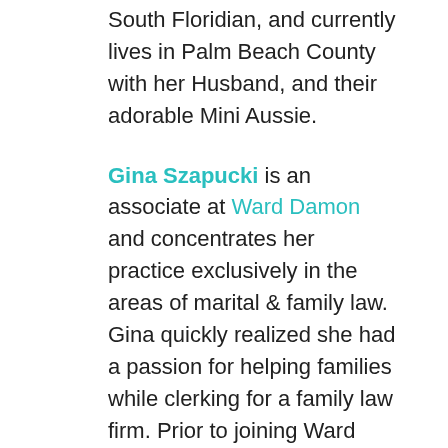South Floridian, and currently lives in Palm Beach County with her Husband, and their adorable Mini Aussie.
Gina Szapucki is an associate at Ward Damon and concentrates her practice exclusively in the areas of marital & family law. Gina quickly realized she had a passion for helping families while clerking for a family law firm. Prior to joining Ward Damon, she practiced marital & family law at a boutique law firm. Her drive to assist and guide families during challenging times continues to grow. Gina represents clients from all walks of life while zealously advocating for individual's rights under Florida law. Gina is originally from New Jersey but has called Florida home for the last 15 years. She is a proud Chi Omega Alumni and in her spare time enjoys traveling, cycling, exploring new restaurants